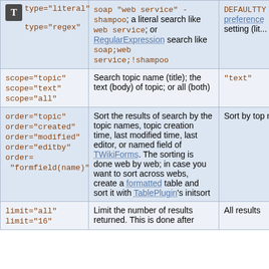| Parameter | Description | Default |
| --- | --- | --- |
| type="literal"
type="regex" | soap "web service" - shampoo; a literal search like web service; or RegularExpression search like soap;web service;!shampoo | DEFAULTTYPE preference setting (lit... |
| scope="topic"
scope="text"
scope="all" | Search topic name (title); the text (body) of topic; or all (both) | "text" |
| order="topic"
order="created"
order="modified"
order="editby"
order= "formfield(name)" | Sort the results of search by the topic names, topic creation time, last modified time, last editor, or named field of TWikiForms. The sorting is done web by web; in case you want to sort across webs, create a formatted table and sort it with TablePlugin's initsort | Sort by topic name |
| limit="all"
limit="16" | Limit the number of results returned. This is done after... | All results |